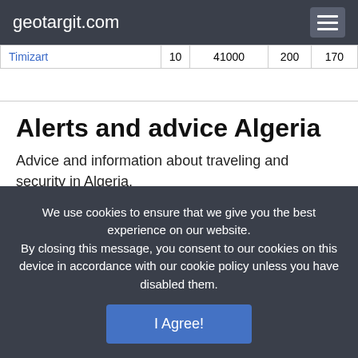geotargit.com
| Timizart | 10 | 41000 | 200 | 170 |
Alerts and advice Algeria
Advice and information about traveling and security in Algeria.
We use cookies to ensure that we give you the best experience on our website.
By closing this message, you consent to our cookies on this device in accordance with our cookie policy unless you have disabled them.
I Agree!